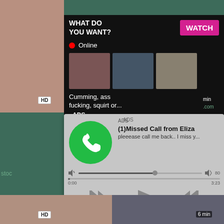[Figure (screenshot): Screenshot of adult website with overlaid ad popup and media player notification]
WHAT DO YOU WANT?
WATCH
Online
Cumming, ass fucking, squirt or...
• ADS
ADS
(1)Missed Call from Eliza
pleeease call me back.. I miss y...
0:00
3:23
HD
HD
6 min